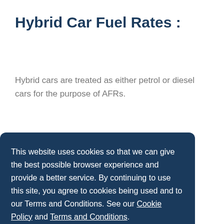Hybrid Car Fuel Rates :
Hybrid cars are treated as either petrol or diesel cars for the purpose of AFRs.
This website uses cookies so that we can give the best possible browser experience and provide a better service. By continuing to use this site, you agree to cookies being used and to our Terms and Conditions. See our Cookie Policy and Terms and Conditions.
I Accept